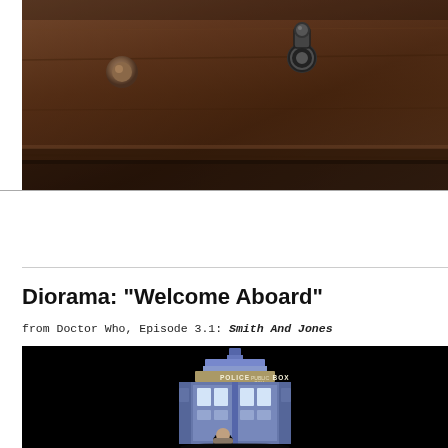[Figure (photo): Close-up photo of an old wooden door surface with metal hardware including a ring door knocker and bolt/stud, dark brown tones]
Diorama: "Welcome Aboard"
from Doctor Who, Episode 3.1: Smith And Jones
[Figure (photo): Photo of a Doctor Who TARDIS police box model/diorama against a black background, blue police box with 'POLICE PUBLIC CALL BOX' sign, figure visible in doorway]